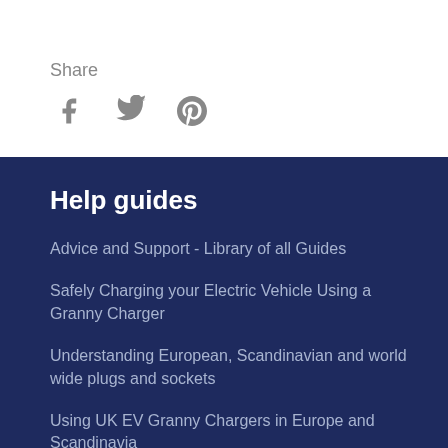Share
[Figure (illustration): Social media share icons: Facebook (f), Twitter (bird), Pinterest (p)]
Help guides
Advice and Support - Library of all Guides
Safely Charging your Electric Vehicle Using a Granny Charger
Understanding European, Scandinavian and world wide plugs and sockets
Using UK EV Granny Chargers in Europe and Scandinavia